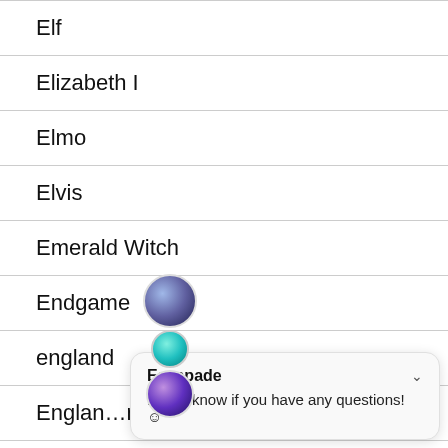Elf
Elizabeth I
Elmo
Elvis
Emerald Witch
Endgame
england
England…
Entertainment
Escapade
Let us know if you have any questions! 😊